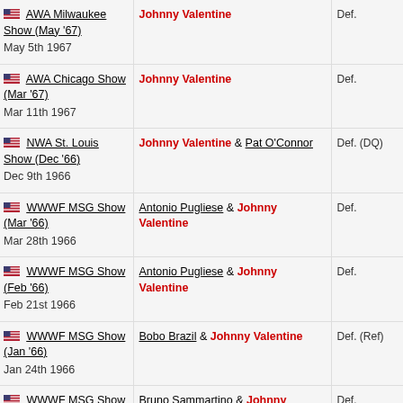| Event | Opponents | Result |
| --- | --- | --- |
| AWA Milwaukee Show (May '67)
May 5th 1967 | Johnny Valentine | Def. |
| AWA Chicago Show (Mar '67)
Mar 11th 1967 | Johnny Valentine | Def. |
| NWA St. Louis Show (Dec '66)
Dec 9th 1966 | Johnny Valentine & Pat O'Connor | Def. (DQ) |
| WWWF MSG Show (Mar '66)
Mar 28th 1966 | Antonio Pugliese & Johnny Valentine | Def. |
| WWWF MSG Show (Feb '66)
Feb 21st 1966 | Antonio Pugliese & Johnny Valentine | Def. |
| WWWF MSG Show (Jan '66)
Jan 24th 1966 | Bobo Brazil & Johnny Valentine | Def. (Ref) |
| WWWF MSG Show (Dec '65)
Dec 13th 1965 | Bruno Sammartino & Johnny Valentine | Def. |